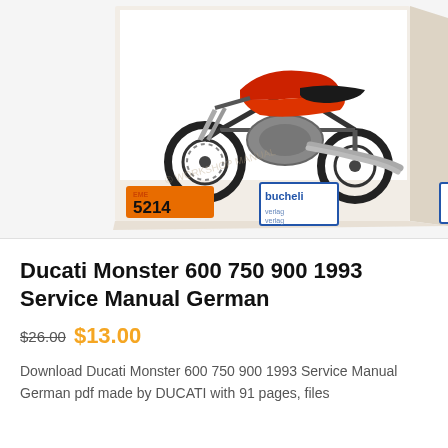[Figure (photo): Product image of a book/manual cover showing a red Ducati Monster motorcycle, with an orange label showing number 5214 and a 'bucheli' logo. The book is shown in 3D perspective as a physical book.]
Ducati Monster 600 750 900 1993 Service Manual German
$26.00 $13.00
Download Ducati Monster 600 750 900 1993 Service Manual German pdf made by DUCATI with 91 pages, files